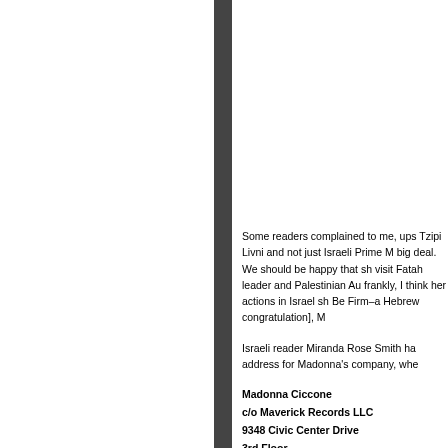Some readers complained to me, ups Tzipi Livni and not just Israeli Prime M big deal. We should be happy that sh visit Fatah leader and Palestinian Au frankly, I think her actions in Israel sh Be Firm–a Hebrew congratulation], M
Israeli reader Miranda Rose Smith ha address for Madonna's company, whe
Madonna Ciccone
c/o Maverick Records LLC
9348 Civic Center Drive
3rd Floor
Beverly Hills, California
U.S.A. 90210
Yes, you gotta use snail-mail, but it al